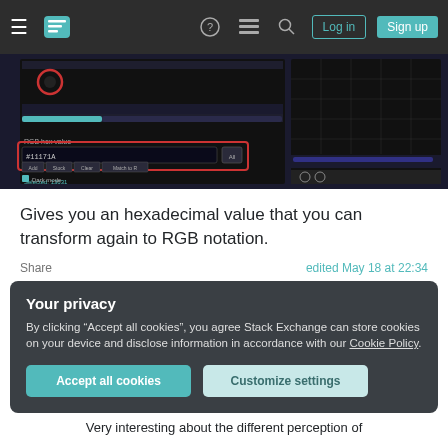Stack Exchange navigation bar with Log in and Sign up buttons
[Figure (screenshot): Dark-themed color picker tool screenshot showing RGB hex value input #11171A, with sliders and action buttons (Add, Stock, Clear, Match to R) and a graph panel on the right side.]
Gives you an hexadecimal value that you can transform again to RGB notation.
Share   edited May 18 at 22:34
Your privacy
By clicking “Accept all cookies”, you agree Stack Exchange can store cookies on your device and disclose information in accordance with our Cookie Policy.
Accept all cookies   Customize settings
Very interesting about the different perception of